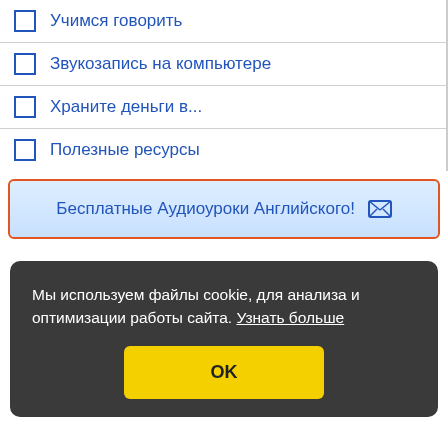Учимся говорить
Звукозапись на компьютере
Храните деньги в...
Полезные ресурсы
Бесплатные Аудиоуроки Английского! ✉
Мы используем файлы cookie, для анализа и оптимизации работы сайта. Узнать больше
OK